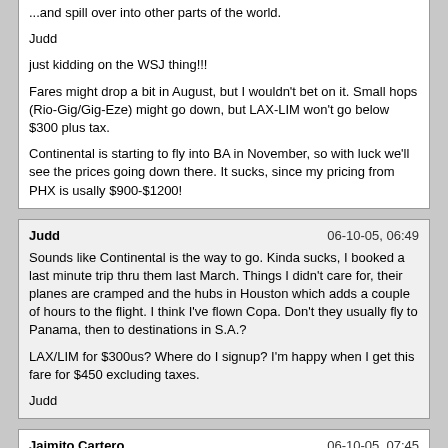...and spill over into other parts of the world.

Judd

just kidding on the WSJ thing!!!

Fares might drop a bit in August, but I wouldn't bet on it. Small hops (Rio-Gig/Gig-Eze) might go down, but LAX-LIM won't go below $300 plus tax.

Continental is starting to fly into BA in November, so with luck we'll see the prices going down there. It sucks, since my pricing from PHX is usally $900-$1200!
Judd | 06-10-05, 06:49

Sounds like Continental is the way to go. Kinda sucks, I booked a last minute trip thru them last March. Things I didn't care for, their planes are cramped and the hubs in Houston which adds a couple of hours to the flight. I think I've flown Copa. Don't they usually fly to Panama, then to destinations in S.A.?

LAX/LIM for $300us? Where do I signup? I'm happy when I get this fare for $450 excluding taxes.

Judd
Jaimito Cartero | 06-10-05, 07:45

Sounds like Continental is the way to go. Kinda sucks, I booked a last minute trip thru them last March. Things I didn't care for, their planes are cramped and the hubs in Houston which adds a couple of hours to the flight. I think I've flown Copa. Don't they usually fly to Panama, then to destinations in S.A.?

LAX/LIM for $300us? Where do I signup? I'm happy when I get this fare for $450 excluding taxes.

Judd